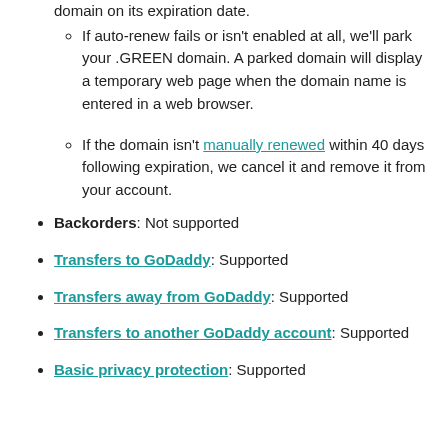If auto-renew fails or isn't enabled at all, we'll park your .GREEN domain. A parked domain will display a temporary web page when the domain name is entered in a web browser.
If the domain isn't manually renewed within 40 days following expiration, we cancel it and remove it from your account.
Backorders: Not supported
Transfers to GoDaddy: Supported
Transfers away from GoDaddy: Supported
Transfers to another GoDaddy account: Supported
Basic privacy protection: Supported